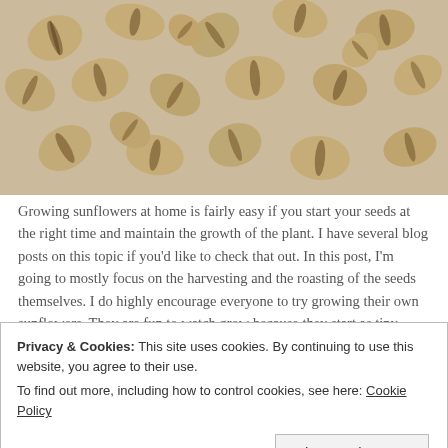[Figure (photo): Close-up photo of many sunflower seeds with striped beige and dark brown shells scattered on a light surface.]
Growing sunflowers at home is fairly easy if you start your seeds at the right time and maintain the growth of the plant. I have several blog posts on this topic if you'd like to check that out. In this post, I'm going to mostly focus on the harvesting and the roasting of the seeds themselves. I do highly encourage everyone to try growing their own sunflowers. They are fun to watch grow because they start as tiny seeds and grow into
Privacy & Cookies: This site uses cookies. By continuing to use this website, you agree to their use.
To find out more, including how to control cookies, see here: Cookie Policy
Close and accept